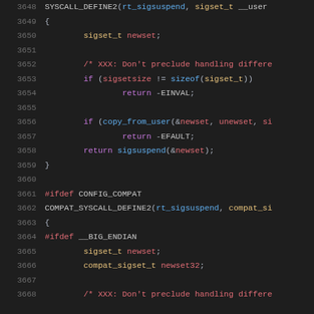[Figure (screenshot): Source code listing showing C kernel code for rt_sigsuspend and COMPAT_SYSCALL_DEFINE2 functions, lines 3648-3668, dark theme IDE screenshot]